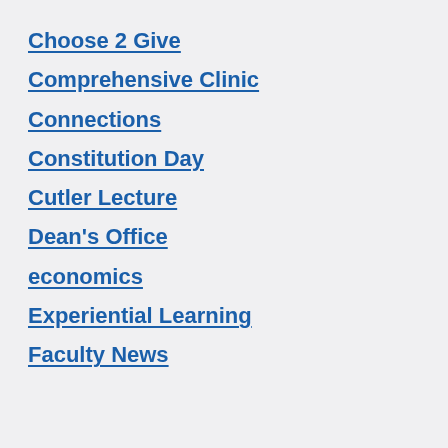Choose 2 Give
Comprehensive Clinic
Connections
Constitution Day
Cutler Lecture
Dean's Office
economics
Experiential Learning
Faculty News